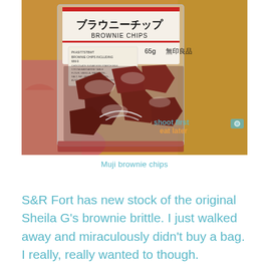[Figure (photo): A hand holding a clear plastic package of Muji Brownie Chips (ブラウニーチップ) labeled 65g with 無印良品 branding. The brownies inside are dark reddish-brown crumbled pieces. A 'shoot first eat later' watermark is visible in the lower right of the photo.]
Muji brownie chips
S&R Fort has new stock of the original Sheila G's brownie brittle. I just walked away and miraculously didn't buy a bag. I really, really wanted to though.